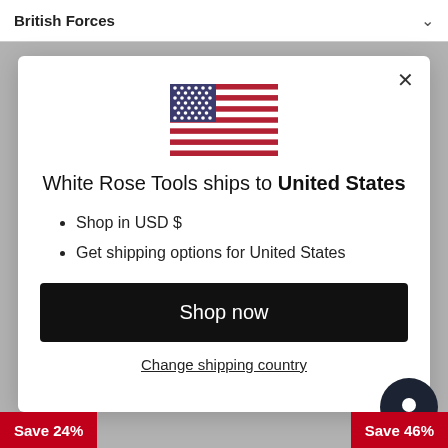British Forces
[Figure (illustration): US flag SVG illustration centered in modal]
White Rose Tools ships to United States
Shop in USD $
Get shipping options for United States
Shop now
Change shipping country
Save 24%
Save 46%